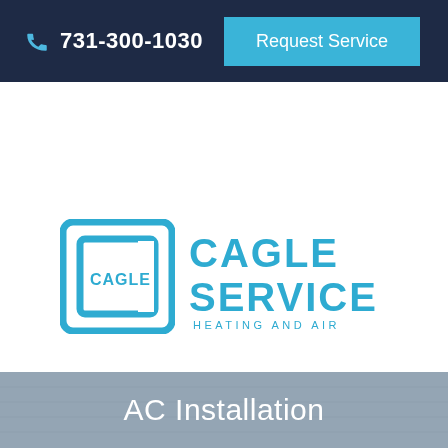731-300-1030   Request Service
[Figure (logo): Cagle Service Heating and Air logo — blue square bracket C icon with 'CAGLE' text inside, next to bold blue 'CAGLE SERVICE' wordmark with 'HEATING AND AIR' subtitle]
[Figure (other): Hamburger menu icon (three horizontal lines)]
AC Installation
[Figure (photo): HVAC technician in blue shirt standing with arms crossed in front of a house exterior with an AC unit visible]